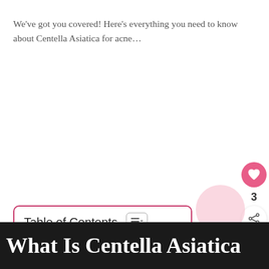We've got you covered! Here's everything you need to know about Centella Asiatica for acne…
Table of Contents
What Is Centella Asiatica